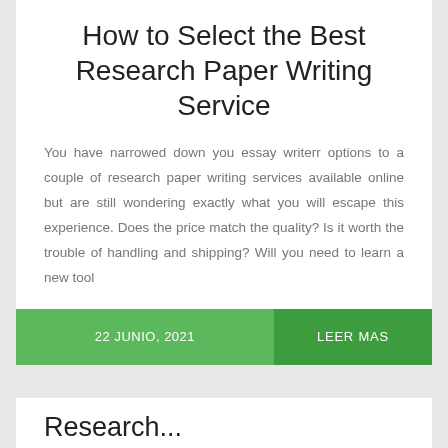How to Select the Best Research Paper Writing Service
You have narrowed down you essay writerr options to a couple of research paper writing services available online but are still wondering exactly what you will escape this experience. Does the price match the quality? Is it worth the trouble of handling and shipping? Will you need to learn a new tool
22 JUNIO, 2021
LEER MAS
Research...